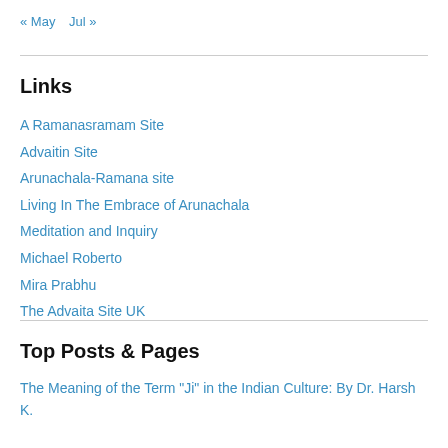« May   Jul »
Links
A Ramanasramam Site
Advaitin Site
Arunachala-Ramana site
Living In The Embrace of Arunachala
Meditation and Inquiry
Michael Roberto
Mira Prabhu
The Advaita Site UK
Top Posts & Pages
The Meaning of the Term "Ji" in the Indian Culture: By Dr. Harsh K.